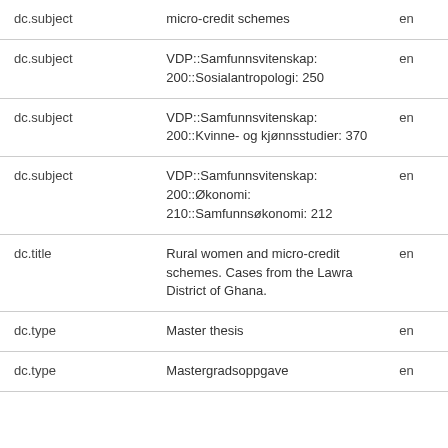| Field | Value | Lang |
| --- | --- | --- |
| dc.subject | micro-credit schemes | en |
| dc.subject | VDP::Samfunnsvitenskap: 200::Sosialantropologi: 250 | en |
| dc.subject | VDP::Samfunnsvitenskap: 200::Kvinne- og kjønnsstudier: 370 | en |
| dc.subject | VDP::Samfunnsvitenskap: 200::Økonomi: 210::Samfunnsøkonomi: 212 | en |
| dc.title | Rural women and micro-credit schemes. Cases from the Lawra District of Ghana. | en |
| dc.type | Master thesis | en |
| dc.type | Mastergradsoppgave | en |